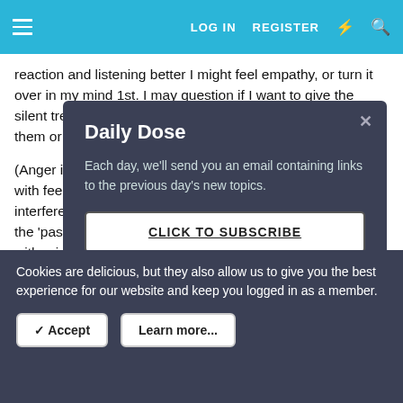LOG IN   REGISTER
reaction and listening better I might feel empathy, or turn it over in my mind 1st. I may question if I want to give the silent treatment; if I think it's a good choice (ever); if I or them or both of us are flooded. Etc.
(Anger is simply a with feeling justifi interfered with, or the 'past', or not e with grief or fear e am proud of it or a thinking, then fee
[Figure (screenshot): Daily Dose modal popup with dark background. Title: 'Daily Dose'. Body text: 'Each day, we’ll send you an email containing links to the previous day’s new topics.' Button: 'CLICK TO SUBSCRIBE'. Close X in top-right corner.]
Or as the start of the video said, ~’having 2 minds about
Cookies are delicious, but they also allow us to give you the best experience for our website and keep you logged in as a member.